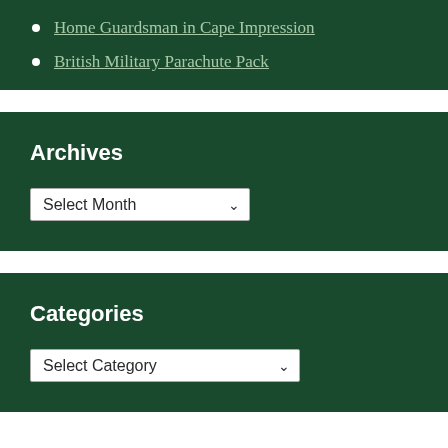Home Guardsman in Cape Impression
British Military Parachute Pack
Archives
Select Month
Categories
Select Category